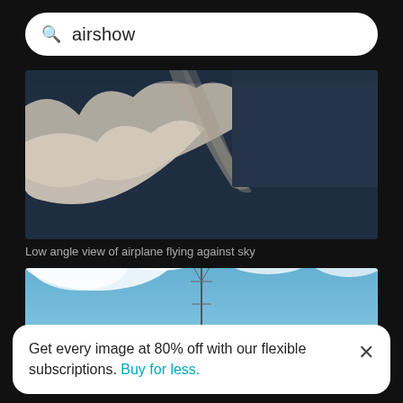airshow
[Figure (photo): Low angle view of airplane flying against sky — clouds with smoke trails against a dark blue-grey sky]
Low angle view of airplane flying against sky
[Figure (photo): Low angle view of a communications tower or antenna against a bright blue sky with white clouds]
Get every image at 80% off with our flexible subscriptions. Buy for less.